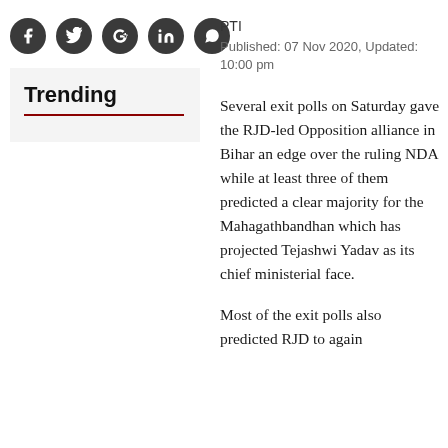[Figure (other): Social media sharing icons: Facebook, Twitter, Google+, LinkedIn, WhatsApp in dark circular buttons]
Trending
PTI
Published: 07 Nov 2020, Updated: 10:00 pm
Several exit polls on Saturday gave the RJD-led Opposition alliance in Bihar an edge over the ruling NDA while at least three of them predicted a clear majority for the Mahagathbandhan which has projected Tejashwi Yadav as its chief ministerial face.
Most of the exit polls also predicted RJD to again